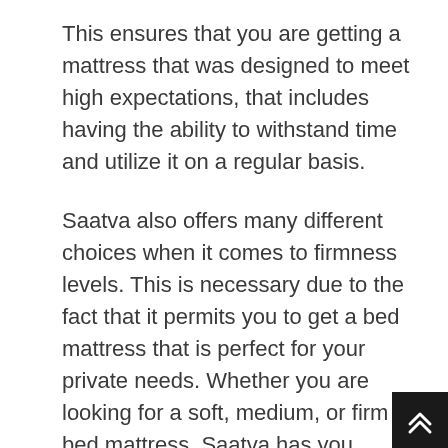This ensures that you are getting a mattress that was designed to meet high expectations, that includes having the ability to withstand time and utilize it on a regular basis.
Saatva also offers many different choices when it comes to firmness levels. This is necessary due to the fact that it permits you to get a bed mattress that is perfect for your private needs. Whether you are looking for a soft, medium, or firm bed mattress, Saatva has you covered.
What really sets the Saatva mattress apart from the competitors, nevertheless, is the quality of construction. Saatva bed mattress are made in the USA with high-quality products. This implies that you can be sure that your mattress will last for many years to come. In addition, Saatva uses a complete